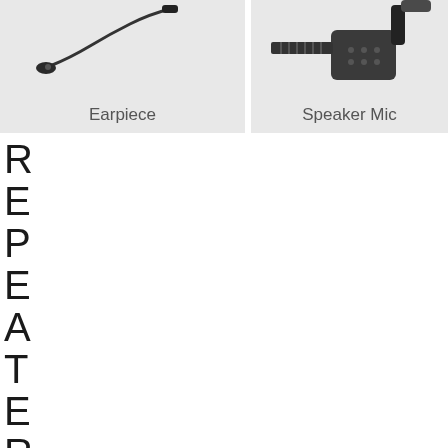[Figure (photo): Photo of an earpiece with thin cable, shown against light gray background, labeled 'Earpiece']
[Figure (photo): Photo of a speaker microphone with clip and cable connectors, shown against light gray background, labeled 'Speaker Mic']
REPEATER